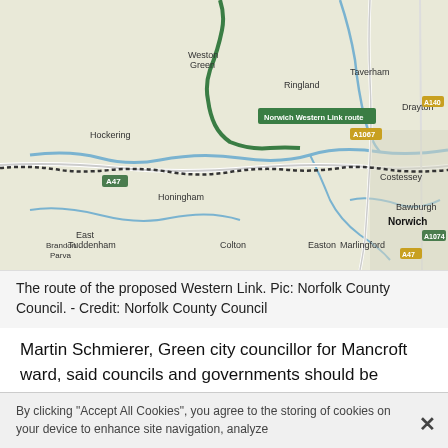[Figure (map): Map showing the route of the proposed Norwich Western Link road through Norfolk, UK. A green line traces the route labeled 'Norwich Western Link route'. Various towns labeled including Hockering, Honingham, East Tuddenham, Colton, Marlingford, Bawburgh, Easton, Ringland, Weston Green, Taverham, Drayton, Costessey, Norwich. Roads A47, A1067, A1074, A140, A47 marked.]
The route of the proposed Western Link. Pic: Norfolk County Council. - Credit: Norfolk County Council
Martin Schmierer, Green city councillor for Mancroft ward, said councils and governments should be investing in better public transport.
Council leaders said the scheme will boost Norfolk's economy and cut rat-running in places such as
By clicking "Accept All Cookies", you agree to the storing of cookies on your device to enhance site navigation, analyze